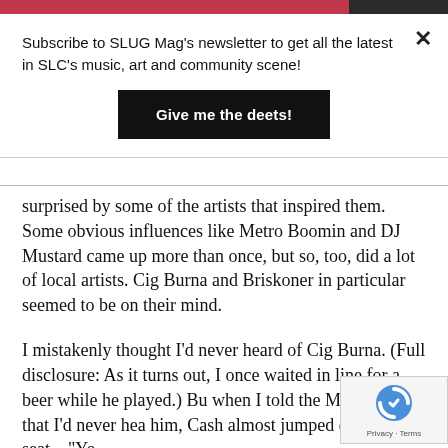Subscribe to SLUG Mag's newsletter to get all the latest in SLC's music, art and community scene!
Give me the deets!
surprised by some of the artists that inspired them. Some obvious influences like Metro Boomin and DJ Mustard came up more than once, but so, too, did a lot of local artists. Cig Burna and Briskoner in particular seemed to be on their mind.
I mistakenly thought I'd never heard of Cig Burna. (Full disclosure: As it turns out, I once waited in line for a beer while he played.) Bu when I told the Merchants that I'd never hea him, Cash almost jumped out of his seat—"Yo